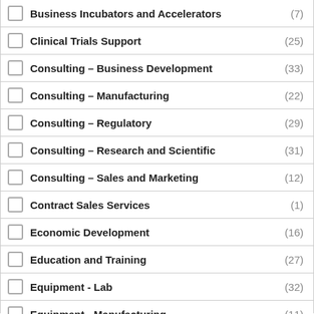Business Incubators and Accelerators (7)
Clinical Trials Support (25)
Consulting – Business Development (33)
Consulting – Manufacturing (22)
Consulting – Regulatory (29)
Consulting – Research and Scientific (31)
Consulting – Sales and Marketing (12)
Contract Sales Services (1)
Economic Development (16)
Education and Training (27)
Equipment - Lab (32)
Equipment - Manufacturing (11)
Equipment - Used (2)
Grants and Grants-related Services (8)